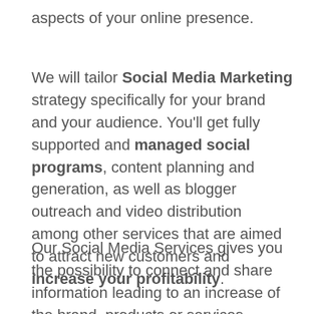aspects of your online presence.
We will tailor Social Media Marketing strategy specifically for your brand and your audience. You'll get fully supported and managed social programs, content planning and generation, as well as blogger outreach and video distribution among other services that are aimed to attract new customers and increase your profitability.
Our Social Media Services gives you the possibility to connect and share information leading to an increase of the brand, products or services awareness. The results of